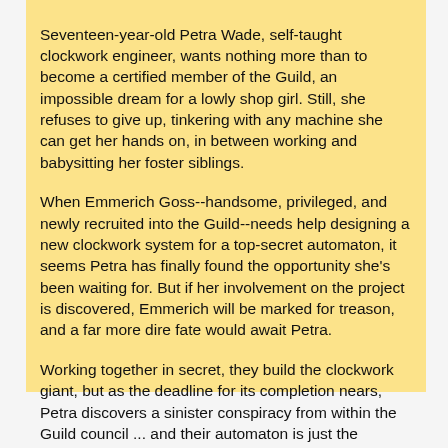Seventeen-year-old Petra Wade, self-taught clockwork engineer, wants nothing more than to become a certified member of the Guild, an impossible dream for a lowly shop girl. Still, she refuses to give up, tinkering with any machine she can get her hands on, in between working and babysitting her foster siblings.

When Emmerich Goss--handsome, privileged, and newly recruited into the Guild--needs help designing a new clockwork system for a top-secret automaton, it seems Petra has finally found the opportunity she's been waiting for. But if her involvement on the project is discovered, Emmerich will be marked for treason, and a far more dire fate would await Petra.

Working together in secret, they build the clockwork giant, but as the deadline for its completion nears, Petra discovers a sinister conspiracy from within the Guild council ... and their automaton is just the beginning.